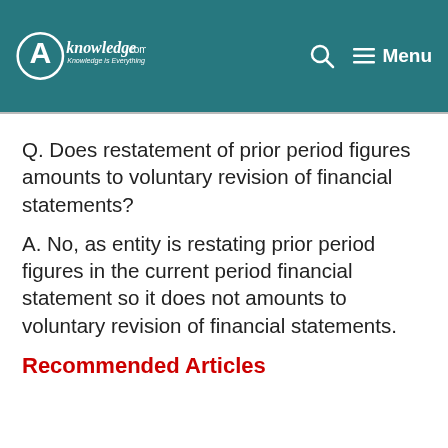CAknowledge.com — Menu
Q. Does restatement of prior period figures amounts to voluntary revision of financial statements?
A. No, as entity is restating prior period figures in the current period financial statement so it does not amounts to voluntary revision of financial statements.
Recommended Articles